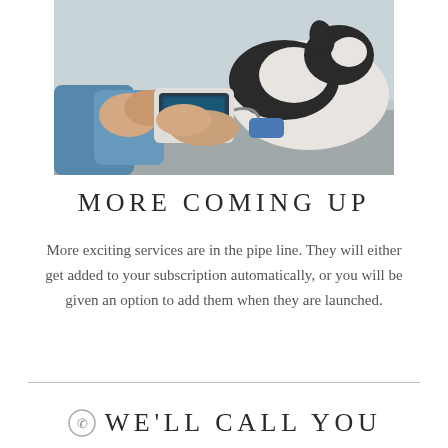[Figure (photo): A veterinarian examining a dog (likely a border collie or similar breed) on a medical table using electronic monitoring equipment. The vet's hands are visible and the dog has a blue medical cuff on its leg.]
MORE COMING UP
More exciting services are in the pipe line. They will either get added to your subscription automatically, or you will be given an option to add them when they are launched.
WELL CALL YOU